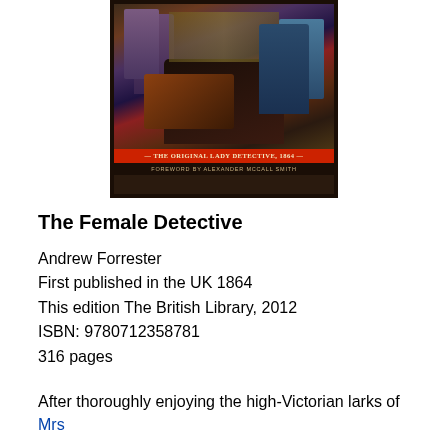[Figure (illustration): Book cover of 'The Female Detective' showing a dark Victorian painting scene with figures in period dress, a red band reading 'The Original Lady Detective, 1864' and foreword credit to Alexander McCall Smith]
The Female Detective
Andrew Forrester
First published in the UK 1864
This edition The British Library, 2012
ISBN: 9780712358781
316 pages
After thoroughly enjoying the high-Victorian larks of Mrs